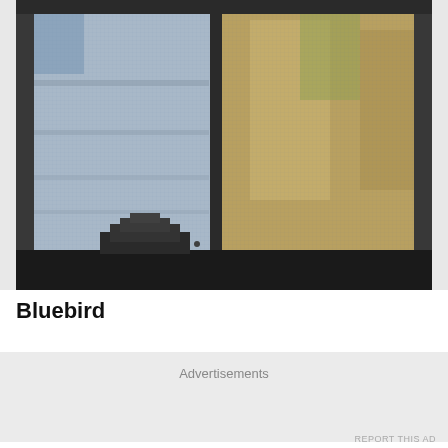[Figure (photo): Close-up photo of a window with a screen, showing reflections and outdoor scenery visible through the glass. A dark window latch/lock mechanism is visible at the bottom. The left side shows a blue window frame and blinds, while the right side shows golden/brown outdoor vegetation through the glass.]
Bluebird
Advertisements
REPORT THIS AD